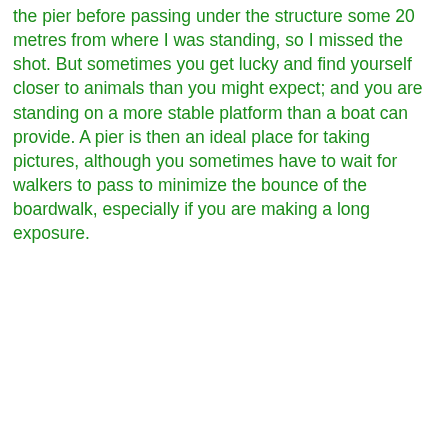the pier before passing under the structure some 20 metres from where I was standing, so I missed the shot. But sometimes you get lucky and find yourself closer to animals than you might expect; and you are standing on a more stable platform than a boat can provide. A pier is then an ideal place for taking pictures, although you sometimes have to wait for walkers to pass to minimize the bounce of the boardwalk, especially if you are making a long exposure.